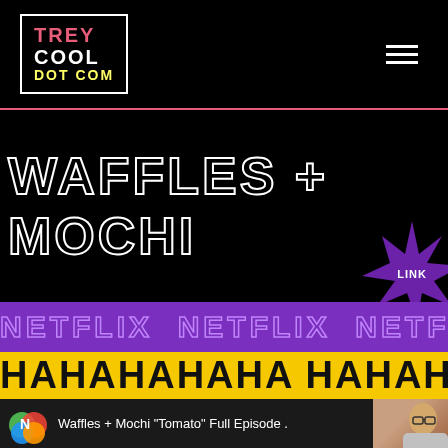TREY COOL DOT COM
WAFFLES + MOCHI
LINK
NETFLIX NETFLIX NETFLIX NE
HAHAHAHAHA HAHAHAHA
Waffles + Mochi "Tomato" Full Episode .